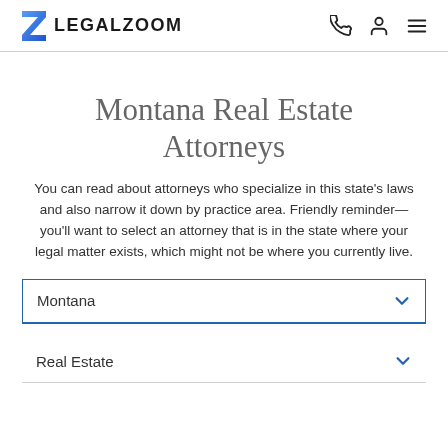LEGALZOOM
Montana Real Estate Attorneys
You can read about attorneys who specialize in this state's laws and also narrow it down by practice area. Friendly reminder—you'll want to select an attorney that is in the state where your legal matter exists, which might not be where you currently live.
Montana
Real Estate